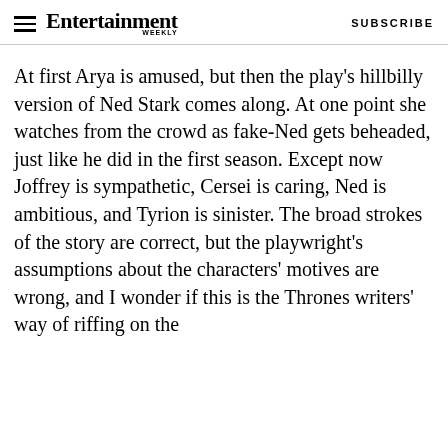Entertainment Weekly  SUBSCRIBE
At first Arya is amused, but then the play's hillbilly version of Ned Stark comes along. At one point she watches from the crowd as fake-Ned gets beheaded, just like he did in the first season. Except now Joffrey is sympathetic, Cersei is caring, Ned is ambitious, and Tyrion is sinister. The broad strokes of the story are correct, but the playwright's assumptions about the characters' motives are wrong, and I wonder if this is the Thrones writers' way of riffing on the